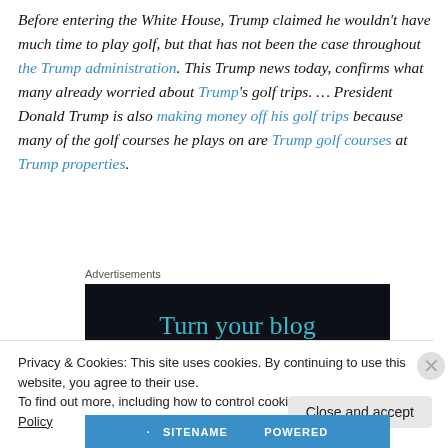Before entering the White House, Trump claimed he wouldn't have much time to play golf, but that has not been the case throughout the Trump administration. This Trump news today, confirms what many already worried about Trump's golf trips. … President Donald Trump is also making money off his golf trips because many of the golf courses he plays on are Trump golf courses at Trump properties.
Advertisements
[Figure (other): Advertisement banner with dark background showing 'Turn your blog' text in teal]
Privacy & Cookies: This site uses cookies. By continuing to use this website, you agree to their use.
To find out more, including how to control cookies, see here: Cookie Policy
Close and accept